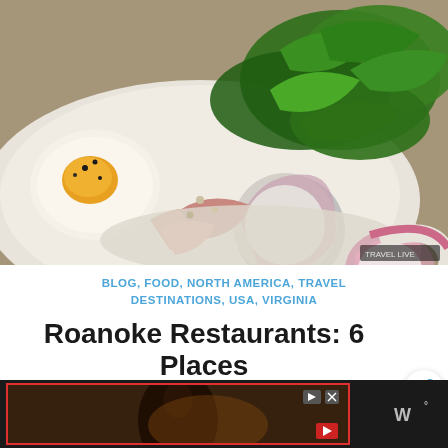[Figure (photo): Close-up food photo of a salad with a halved boiled egg, radish slices, arugula/greens, and what appears to be tuna or chicken on a white plate, with a watermark in bottom right corner]
BLOG, FOOD, NORTH AMERICA, TRAVEL DESTINATIONS, USA, VIRGINIA
Roanoke Restaurants: 6 Places to Eat Healthy in Virginia's Blue Ridge
[Figure (screenshot): Advertisement banner with red border showing a dark background image, play/close controls in top right, and a red icon at bottom right. Weather widget showing 'W°' at far right of ad bar.]